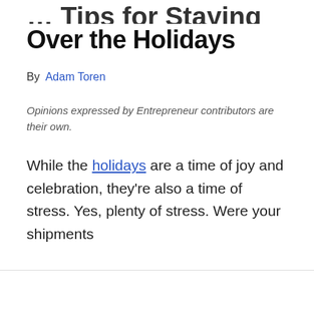… Tips for Staying Sane Over the Holidays
By  Adam Toren
Opinions expressed by Entrepreneur contributors are their own.
While the holidays are a time of joy and celebration, they're also a time of stress. Yes, plenty of stress. Were your shipments